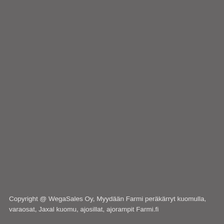[Figure (photo): A large gray/dark background image filling most of the page, appearing as a uniformly gray photo or placeholder image.]
Copyright @ WegaSales Oy, Myydään Farmi peräkärryt kuomulla, varaosat, Jaxal kuomu, ajosillat, ajorampit Farmi.fi